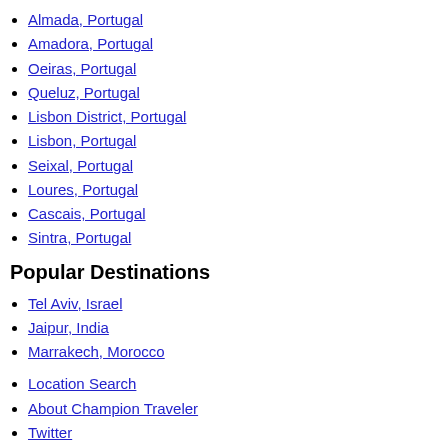Almada, Portugal
Amadora, Portugal
Oeiras, Portugal
Queluz, Portugal
Lisbon District, Portugal
Lisbon, Portugal
Seixal, Portugal
Loures, Portugal
Cascais, Portugal
Sintra, Portugal
Popular Destinations
Tel Aviv, Israel
Jaipur, India
Marrakech, Morocco
Location Search
About Champion Traveler
Twitter
Disclosure Statement
Privacy Policy
Contact